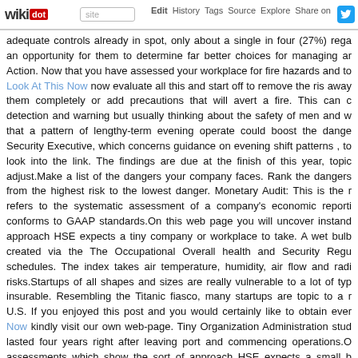wikidot | site | Edit | History | Tags | Source | Explore | Share on [Twitter]
adequate controls already in spot, only about a single in four (27%) rega an opportunity for them to determine far better choices for managing ar Action. Now that you have assessed your workplace for fire hazards and to Look At This Now now evaluate all this and start off to remove the ris away them completely or add precautions that will avert a fire. This can c detection and warning but usually thinking about the safety of men and w that a pattern of lengthy-term evening operate could boost the dange Security Executive, which concerns guidance on evening shift patterns , to look into the link. The findings are due at the finish of this year, topic adjust.Make a list of the dangers your company faces. Rank the dangers from the highest risk to the lowest danger. Monetary Audit: This is the r refers to the systematic assessment of a company's economic reporti conforms to GAAP standards.On this web page you will uncover instand approach HSE expects a tiny company or workplace to take. A wet bulb created via the The Occupational Overall health and Security Regu schedules. The index takes air temperature, humidity, air flow and radi risks.Startups of all shapes and sizes are really vulnerable to a lot of typ insurable. Resembling the Titanic fiasco, many startups are topic to a r U.S. If you enjoyed this post and you would certainly like to obtain ever Now kindly visit our own web-page. Tiny Organization Administration stud lasted four years right after leaving port and commencing operations.O assessments which show the sort of approach HSE expects a small b correct about some of his examples, but the question is: How very goo the lesson of the properly researched" hormone replacement therapy re reduce menopause symptoms and the risk of heart illness. Subsequen risky procedure employed by millions of women could enhance the thre with the economic structure of your company, the transactions your busi currently have in spot. If you lease rather than own the premises, these